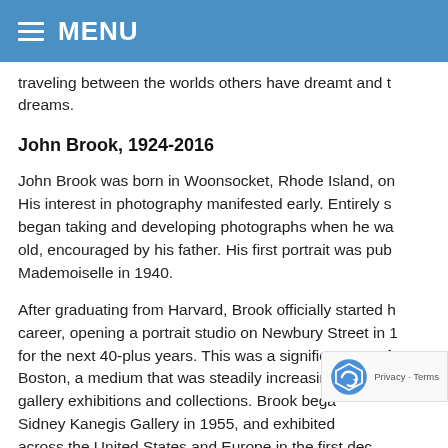MENU
traveling between the worlds others have dreamt and their dreams.
John Brook, 1924-2016
John Brook was born in Woonsocket, Rhode Island, on His interest in photography manifested early. Entirely s began taking and developing photographs when he wa old, encouraged by his father. His first portrait was pub Mademoiselle in 1940.
After graduating from Harvard, Brook officially started h career, opening a portrait studio on Newbury Street in 1 for the next 40-plus years. This was a significant step f Boston, a medium that was steadily increasing its pres gallery exhibitions and collections. Brook bega Sidney Kanegis Gallery in 1955, and exhibited across the United States and Europe in the first dec